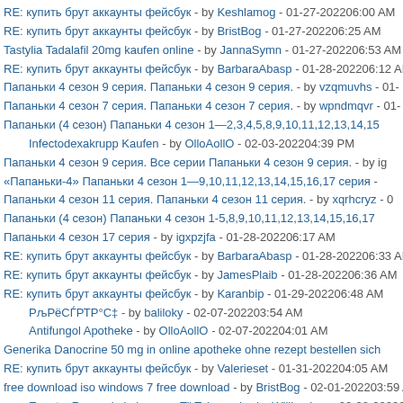RE: купить брут аккаунты фейсбук - by Keshlamog - 01-27-202206:00 AM
RE: купить брут аккаунты фейсбук - by BristBog - 01-27-202206:25 AM
Tastylia Tadalafil 20mg kaufen online - by JannaSymn - 01-27-202206:53 AM
RE: купить брут аккаунты фейсбук - by BarbaraAbasp - 01-28-202206:12 AM
Папаньки 4 сезон 9 серия. Папаньки 4 сезон 9 серия. - by vzqmuvhs - 01-
Папаньки 4 сезон 7 серия. Папаньки 4 сезон 7 серия. - by wpndmqvr - 01-
Папаньки (4 сезон) Папаньки 4 сезон 1—2,3,4,5,8,9,10,11,12,13,14,15
Infectodexakrupp Kaufen - by OlloAollO - 02-03-202204:39 PM
Папаньки 4 сезон 9 серия. Все серии Папаньки 4 сезон 9 серия. - by ig
«Папаньки-4» Папаньки 4 сезон 1—9,10,11,12,13,14,15,16,17 серия -
Папаньки 4 сезон 11 серия. Папаньки 4 сезон 11 серия. - by xqrhcryz - 0
Папаньки (4 сезон) Папаньки 4 сезон 1-5,8,9,10,11,12,13,14,15,16,17
Папаньки 4 сезон 17 серия - by igxpzjfa - 01-28-202206:17 AM
RE: купить брут аккаунты фейсбук - by BarbaraAbasp - 01-28-202206:33 AM
RE: купить брут аккаунты фейсбук - by JamesPlaib - 01-28-202206:36 AM
RE: купить брут аккаунты фейсбук - by Karanbip - 01-29-202206:48 AM
РљРёСЃРТР°С‡ - by baliloky - 02-07-202203:54 AM
Antifungol Apotheke - by OlloAollO - 02-07-202204:01 AM
Generika Danocrine 50 mg in online apotheke ohne rezept bestellen sich
RE: купить брут аккаунты фейсбук - by Valerieset - 01-31-202204:05 AM
free download iso windows 7 free download - by BristBog - 02-01-202203:59 A
Exante: Recenzje i niuanse вТ" Telegraph - by Williamlam - 02-08-202203:
fix windows 7 7601 not genuine free download - by BristBog - 02-01-202201:0
Iluxoxi cada qexoh - by JannaSymn - 02-01-202201:11 PM
RE: купить брут аккаунты фейсбук - by Cheedenab - 02-01-202201:17 PM